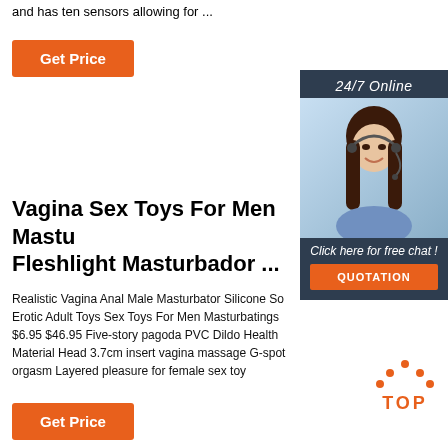and has ten sensors allowing for …
[Figure (other): Orange Get Price button]
[Figure (other): 24/7 Online chat widget sidebar with photo of woman with headset, quotation button]
Vagina Sex Toys For Men Mastu Fleshlight Masturbador ...
Realistic Vagina Anal Male Masturbator Silicone So Erotic Adult Toys Sex Toys For Men Masturbatings $6.95 $46.95 Five-story pagoda PVC Dildo Health Material Head 3.7cm insert vagina massage G-spot orgasm Layered pleasure for female sex toy
[Figure (other): TOP icon with orange dots above text]
[Figure (other): Orange Get Price button at bottom]